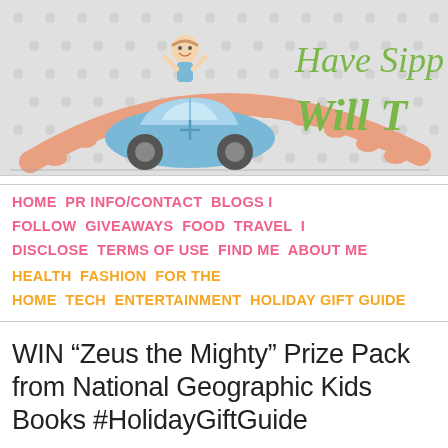[Figure (illustration): Blog header banner with light gray polka-dot background. Features a cartoon child riding in a small blue car over an orange arch/bridge. To the right, green cursive text reads 'Have Sipp' and 'Will T' (partially cropped).]
HOME  PR INFO/CONTACT  BLOGS I FOLLOW  GIVEAWAYS  FOOD  TRAVEL  I DISCLOSE  TERMS OF USE  FIND ME  ABOUT ME
HEALTH  FASHION  FOR THE HOME  TECH  ENTERTAINMENT  HOLIDAY GIFT GUIDE
WIN “Zeus the Mighty” Prize Pack from National Geographic Kids Books #HolidayGiftGuide